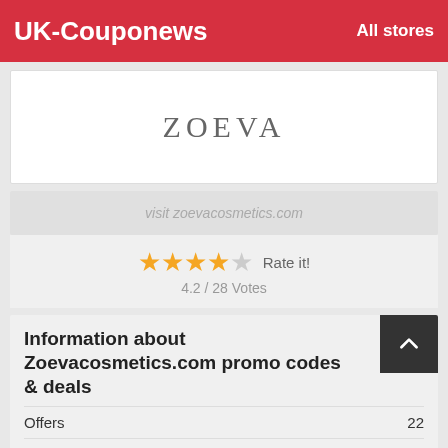UK-Couponews    All stores
[Figure (logo): ZOEVA brand logo in grey serif text on white background]
visit zoevacosmetics.com
★★★★☆  Rate it!
4.2 / 28 Votes
Information about Zoevacosmetics.com promo codes & deals
|  |  |
| --- | --- |
| Offers | 22 |
| Codes | 2 |
| Deals | 20 |
| Best Discount | 70% |